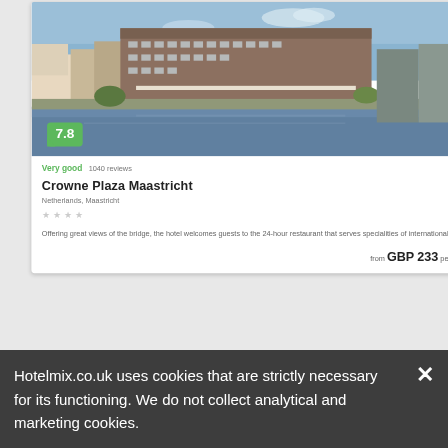[Figure (photo): Hotel exterior photo showing Crowne Plaza Maastricht building by a river, modern multi-story brick building with water in foreground and blue sky]
7.8
Very good  1040 reviews                          Hotel
Crowne Plaza Maastricht
Netherlands, Maastricht
★ ★ ★ ★
Offering great views of the bridge, the hotel welcomes guests to the 24-hour restaurant that serves specialities of international...
from GBP 233 per night
Hotelmix.co.uk uses cookies that are strictly necessary for its functioning. We do not collect analytical and marketing cookies.